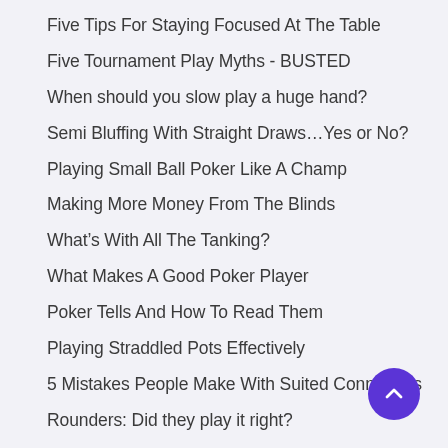Five Tips For Staying Focused At The Table
Five Tournament Play Myths – BUSTED
When should you slow play a huge hand?
Semi Bluffing With Straight Draws…Yes or No?
Playing Small Ball Poker Like A Champ
Making More Money From The Blinds
What's With All The Tanking?
What Makes A Good Poker Player
Poker Tells And How To Read Them
Playing Straddled Pots Effectively
5 Mistakes People Make With Suited Connectors
Rounders: Did they play it right?
Playing Small Pocket Pairs In Tournaments